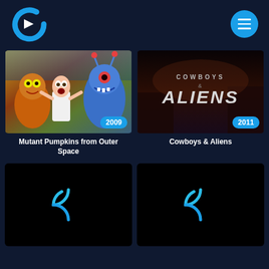[Figure (logo): Crackle streaming service logo — blue C shape with play triangle]
[Figure (screenshot): App screenshot showing movie grid with Mutant Pumpkins from Outer Space (2009) and Cowboys & Aliens (2011) thumbnails, plus two loading placeholders below]
Mutant Pumpkins from Outer Space
Cowboys & Aliens